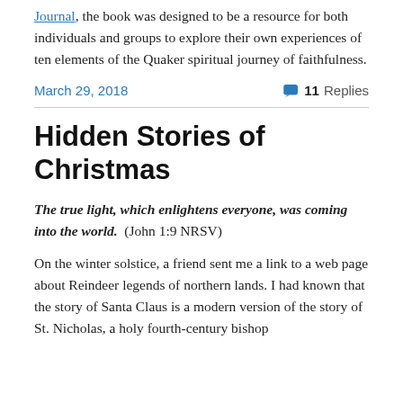Journal, the book was designed to be a resource for both individuals and groups to explore their own experiences of ten elements of the Quaker spiritual journey of faithfulness.
March 29, 2018   11 Replies
Hidden Stories of Christmas
The true light, which enlightens everyone, was coming into the world.  (John 1:9 NRSV)
On the winter solstice, a friend sent me a link to a web page about Reindeer legends of northern lands. I had known that the story of Santa Claus is a modern version of the story of St. Nicholas, a holy fourth-century bishop